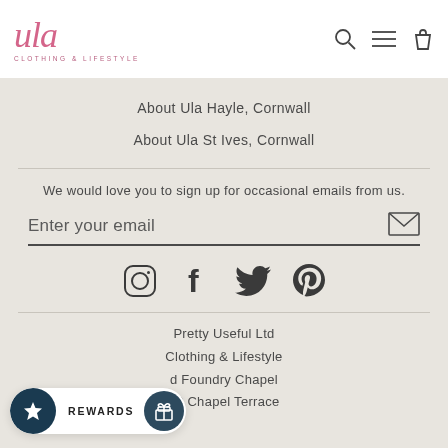[Figure (logo): Ula Clothing & Lifestyle logo — cursive pink script 'ula' with subtitle 'CLOTHING & LIFESTYLE']
About Ula Hayle, Cornwall
About Ula St Ives, Cornwall
We would love you to sign up for occasional emails from us.
[Figure (other): Email input field with placeholder 'Enter your email' and envelope submit icon]
[Figure (other): Social media icons: Instagram, Facebook, Twitter, Pinterest]
Pretty Useful Ltd
Clothing & Lifestyle
d Foundry Chapel
13 Chapel Terrace
[Figure (other): REWARDS button with dark teal gift icon circle]